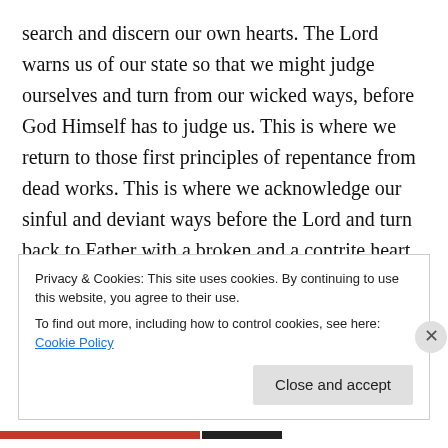search and discern our own hearts. The Lord warns us of our state so that we might judge ourselves and turn from our wicked ways, before God Himself has to judge us. This is where we return to those first principles of repentance from dead works. This is where we acknowledge our sinful and deviant ways before the Lord and turn back to Father with a broken and a contrite heart which the Lord says He will not despise. This is where we abandon the cisterns of our own making and turn again to drink from the fountain of living water. There we will find His grace and forgiveness if we will but fear Him and repent.
Privacy & Cookies: This site uses cookies. By continuing to use this website, you agree to their use.
To find out more, including how to control cookies, see here: Cookie Policy